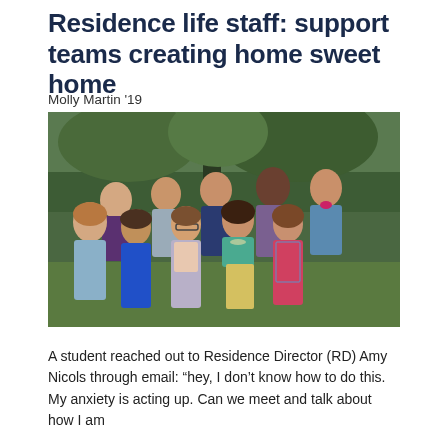Residence life staff: support teams creating home sweet home
Molly Martin '19
[Figure (photo): Group photo of approximately 10 residence life staff members posing together outdoors in front of green foliage, dressed in semi-formal attire, smiling at camera.]
A student reached out to Residence Director (RD) Amy Nicols through email: “hey, I don’t know how to do this. My anxiety is acting up. Can we meet and talk about how I am